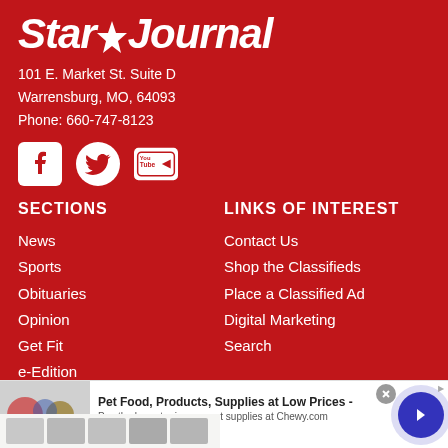Star Journal
101 E. Market St. Suite D
Warrensburg, MO, 64093
Phone: 660-747-8123
[Figure (logo): Social media icons: Facebook, Twitter, YouTube]
SECTIONS
News
Sports
Obituaries
Opinion
Get Fit
e-Edition
LINKS OF INTEREST
Contact Us
Shop the Classifieds
Place a Classified Ad
Digital Marketing
Search
[Figure (screenshot): Advertisement: Pet Food, Products, Supplies at Low Prices - chewy.com]